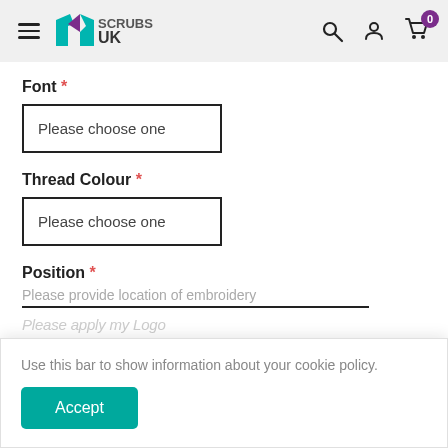Scrubs UK — navigation header with logo, search, account, and cart (0 items)
Font *
Please choose one
Thread Colour *
Please choose one
Position *
Please provide location of embroidery
Use this bar to show information about your cookie policy.
Accept
Logo Application Fee